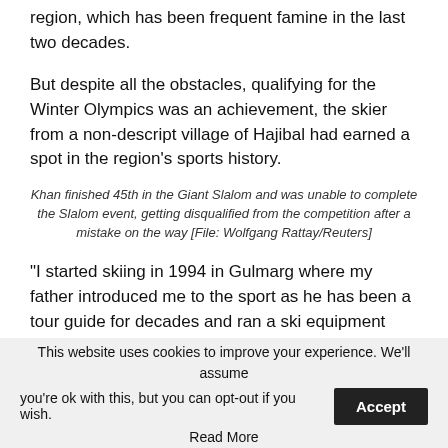region, which has been frequent famine in the last two decades.
But despite all the obstacles, qualifying for the Winter Olympics was an achievement, the skier from a non-descript village of Hajibal had earned a spot in the region's sports history.
Khan finished 45th in the Giant Slalom and was unable to complete the Slalom event, getting disqualified from the competition after a mistake on the way [File: Wolfgang Rattay/Reuters]
“I started skiing in 1994 in Gulmarg where my father introduced me to the sport as he has been a tour guide for decades and ran a ski equipment
This website uses cookies to improve your experience. We’ll assume you’re ok with this, but you can opt-out if you wish. Accept Read More